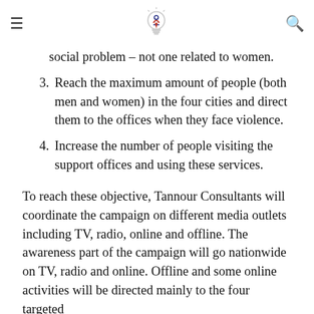Hamburger menu | Logo | Search icon
social problem – not one related to women.
3. Reach the maximum amount of people (both men and women) in the four cities and direct them to the offices when they face violence.
4. Increase the number of people visiting the support offices and using these services.
To reach these objective, Tannour Consultants will coordinate the campaign on different media outlets including TV, radio, online and offline. The awareness part of the campaign will go nationwide on TV, radio and online. Offline and some online activities will be directed mainly to the four targeted